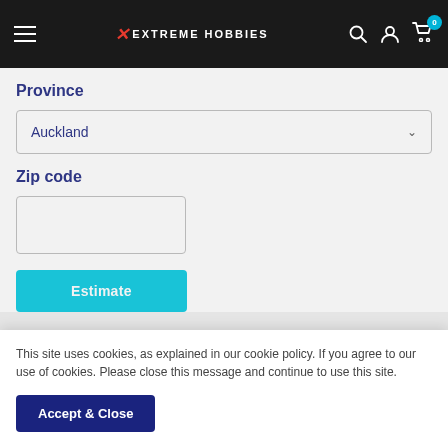Extreme Hobbies — navigation header with hamburger menu, logo, search, account, and cart icons
Province
Auckland
Zip code
[Figure (screenshot): Empty zip code input field]
Estimate
This site uses cookies, as explained in our cookie policy. If you agree to our use of cookies. Please close this message and continue to use this site.
Accept & Close